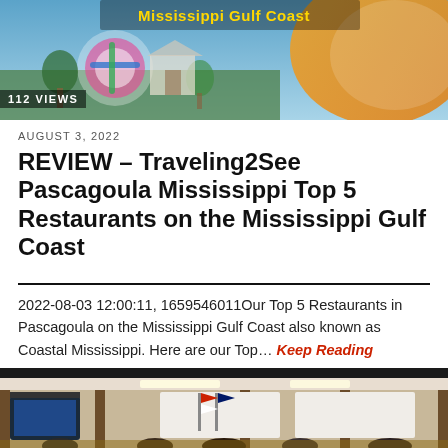[Figure (photo): Banner image for Mississippi Gulf Coast with colorful decorative elements and text overlay reading 'Mississippi Gulf Coast']
112 VIEWS
AUGUST 3, 2022
REVIEW – Traveling2See Pascagoula Mississippi Top 5 Restaurants on the Mississippi Gulf Coast
2022-08-03 12:00:11, 1659546011Our Top 5 Restaurants in Pascagoula on the Mississippi Gulf Coast also known as Coastal Mississippi. Here are our Top… Keep Reading
[Figure (photo): Photo of a meeting room with people seated at a table, a television screen on the left, flags and white boards in the background, overhead lighting]